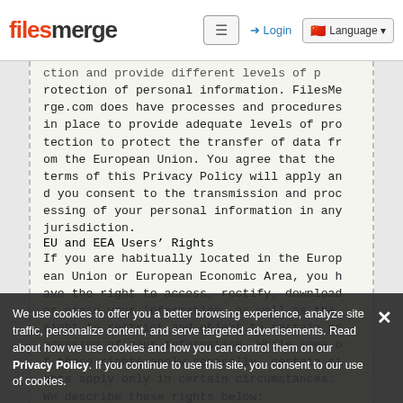FilesMerge — Login — Language
ction and provide different levels of protection of personal information. FilesMerge.com does have processes and procedures in place to provide adequate levels of protection to protect the transfer of data from the European Union. You agree that the terms of this Privacy Policy will apply and you consent to the transmission and processing of your personal information in any jurisdiction.
EU and EEA Users' Rights
If you are habitually located in the European Union or European Economic Area, you have the right to access, rectify, download or erase your information, as well as the right to restrict and object to certain processing of your information. While some of these rights apply generally, certain rights apply only in certain circumstances. We describe these rights below:
We use cookies to offer you a better browsing experience, analyze site traffic, personalize content, and serve targeted advertisements. Read about how we use cookies and how you can control them on our Privacy Policy. If you continue to use this site, you consent to our use of cookies.